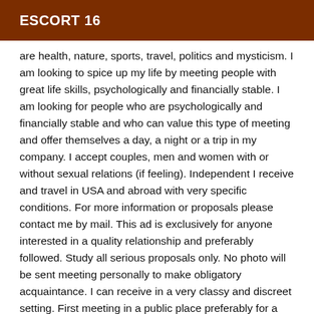ESCORT 16
are health, nature, sports, travel, politics and mysticism. I am looking to spice up my life by meeting people with great life skills, psychologically and financially stable. I am looking for people who are psychologically and financially stable and who can value this type of meeting and offer themselves a day, a night or a trip in my company. I accept couples, men and women with or without sexual relations (if feeling). Independent I receive and travel in USA and abroad with very specific conditions. For more information or proposals please contact me by mail. This ad is exclusively for anyone interested in a quality relationship and preferably followed. Study all serious proposals only. No photo will be sent meeting personally to make obligatory acquaintance. I can receive in a very classy and discreet setting. First meeting in a public place preferably for a meal, coffee or Skype if outside Clewiston. See you